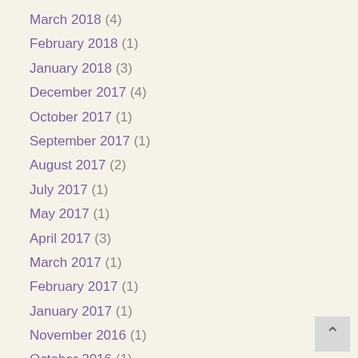March 2018 (4)
February 2018 (1)
January 2018 (3)
December 2017 (4)
October 2017 (1)
September 2017 (1)
August 2017 (2)
July 2017 (1)
May 2017 (1)
April 2017 (3)
March 2017 (1)
February 2017 (1)
January 2017 (1)
November 2016 (1)
October 2016 (1)